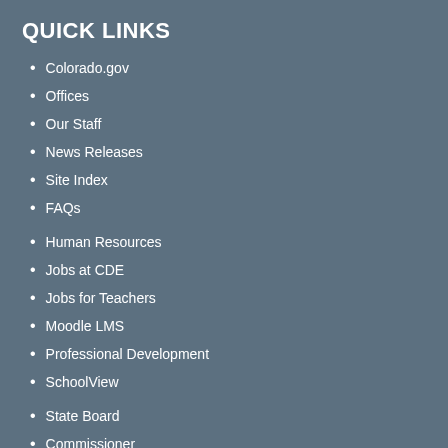QUICK LINKS
Colorado.gov
Offices
Our Staff
News Releases
Site Index
FAQs
Human Resources
Jobs at CDE
Jobs for Teachers
Moodle LMS
Professional Development
SchoolView
State Board
Commissioner
Communications
Calendar
About CDE
CONTACT US